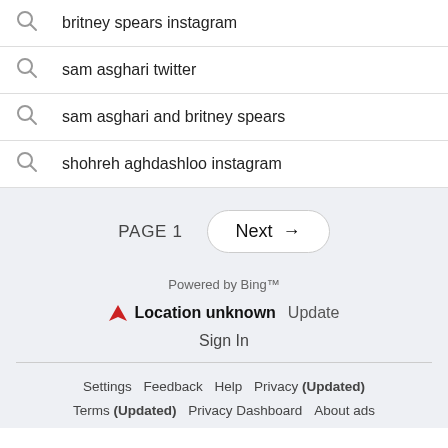britney spears instagram
sam asghari twitter
sam asghari and britney spears
shohreh aghdashloo instagram
PAGE 1  Next →
Powered by Bing™
Location unknown  Update
Sign In
Settings  Feedback  Help  Privacy (Updated)  Terms (Updated)  Privacy Dashboard  About ads